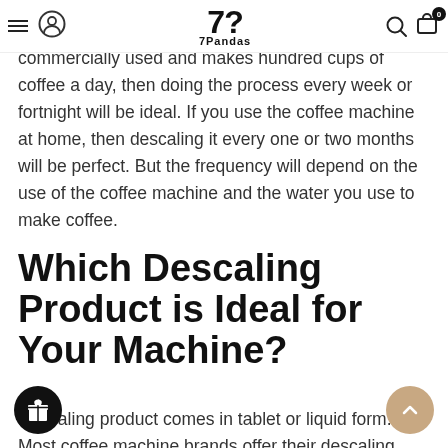7Pandas — Navigation header with hamburger, user icon, logo, search, cart (0)
it depends on your usage. If the machine is commercially used and makes hundred cups of coffee a day, then doing the process every week or fortnight will be ideal. If you use the coffee machine at home, then descaling it every one or two months will be perfect. But the frequency will depend on the use of the coffee machine and the water you use to make coffee.
Which Descaling Product is Ideal for Your Machine?
Descaling product comes in tablet or liquid form. Most coffee machine brands offer their descaling product. If you want to use a DIY method, two products